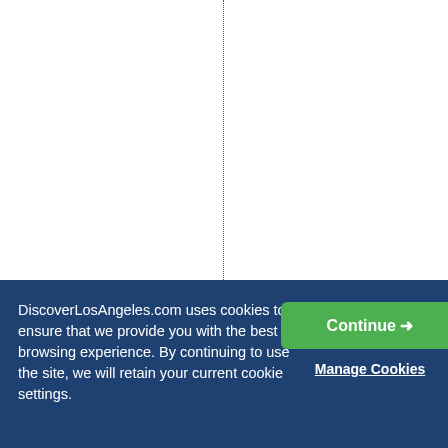[Figure (other): White area with a vertical dotted line and vertical rotated text reading 'ible. The costum']
DiscoverLosAngeles.com uses cookies to ensure that we provide you with the best browsing experience. By continuing to use the site, we will retain your current cookie settings.
Continue →
Manage Cookies